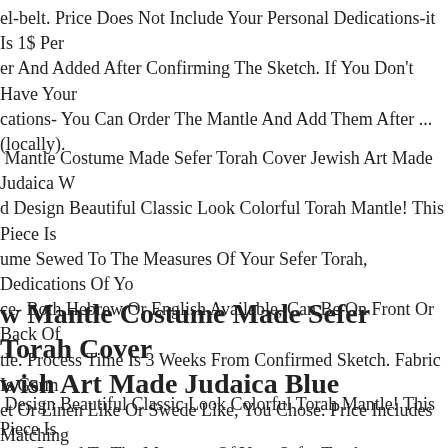el-belt. Price Does Not Include Your Personal Dedications-it Is 1$ Per er And Added After Confirming The Sketch. If You Don't Have Your cations- You Can Order The Mantle And Add Them After ...(locally).
Mantle Costume Made Sefer Torah Cover Jewish Art Made Judaica W d Design Beautiful Classic Look Colorful Torah Mantle! This Piece Is ume Sewed To The Measures Of Your Sefer Torah, Dedications Of Yo ce- Both Hebrew Or English Available, Can Be On Front Or Back Of tle. Process Time Is 3 Weeks From Confirmed Sketch. Fabric Is Germ et Or Linen Like Or Swede Like, You Chose. Price Includes Matching el-belt. Price Does Not Include Your Personal Dedications-it Is 1$ Per er And Added After Confirming The Sketch. If You Don't Have Your cations- You Can Order The Mantle And Add Them After ...(locally).
w Mantle Costume Made Sefer Torah Cover Jewish Art Made Judaica Blue
Design Beautiful Classic Look Colorful Torah Mantle! This Piece Is ume Sewed To The Measures Of Your Sefer Torah, Dedications Of Yo ce- Both Hebrew Or English Available, Can Be On Front Or Back O